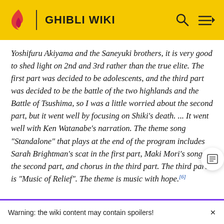GHIBLI WIKI
Yoshifuru Akiyama and the Saneyuki brothers, it is very good to shed light on 2nd and 3rd rather than the true elite. The first part was decided to be adolescents, and the third part was decided to be the battle of the two highlands and the Battle of Tsushima, so I was a little worried about the second part, but it went well by focusing on Shiki's death. ... It went well with Ken Watanabe's narration. The theme song "Standalone" that plays at the end of the program includes Sarah Brightman's scat in the first part, Maki Mori's song in the second part, and chorus in the third part. The third part is "Music of Relief". The theme is music with hope.[6]
Warning: the wiki content may contain spoilers!